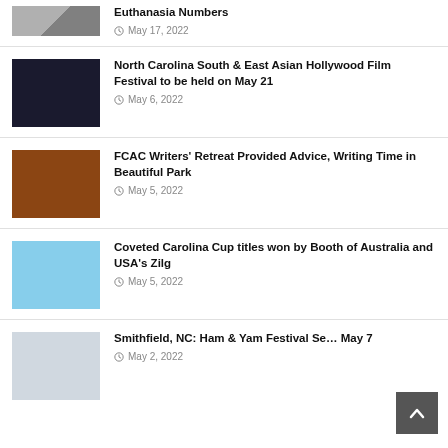Euthanasia Numbers — May 17, 2022
North Carolina South & East Asian Hollywood Film Festival to be held on May 21 — May 6, 2022
FCAC Writers' Retreat Provided Advice, Writing Time in Beautiful Park — May 5, 2022
Coveted Carolina Cup titles won by Booth of Australia and USA's Zilg — May 5, 2022
Smithfield, NC: Ham & Yam Festival Se… May 7 — May 2, 2022